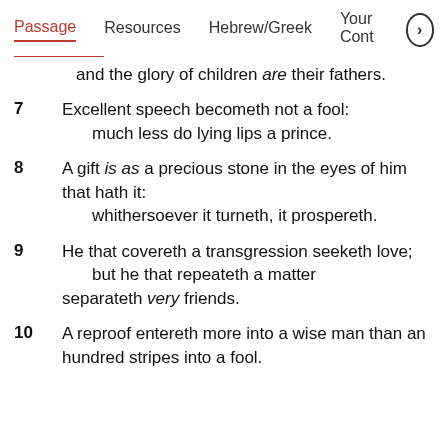Passage   Resources   Hebrew/Greek   Your Cont›
and the glory of children are their fathers.
7   Excellent speech becometh not a fool: much less do lying lips a prince.
8   A gift is as a precious stone in the eyes of him that hath it: whithersoever it turneth, it prospereth.
9   He that covereth a transgression seeketh love; but he that repeateth a matter separateth very friends.
10   A reproof entereth more into a wise man than an hundred stripes into a fool.